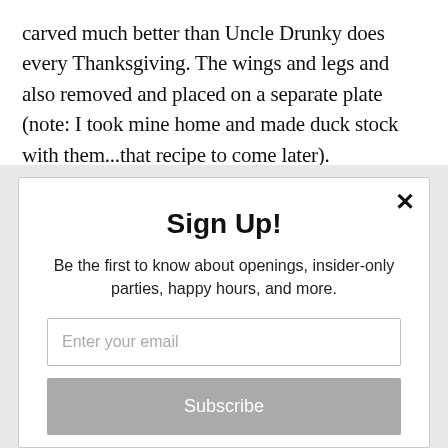carved much better than Uncle Drunky does every Thanksgiving. The wings and legs and also removed and placed on a separate plate (note: I took mine home and made duck stock with them...that recipe to come later).
Sign Up!
Be the first to know about openings, insider-only parties, happy hours, and more.
Enter your email
Subscribe
powered by MailMunch